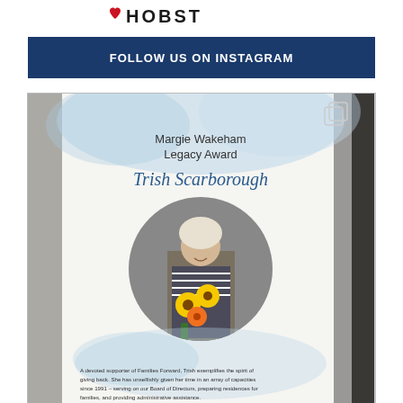HOBST (logo/header area)
FOLLOW US ON INSTAGRAM
[Figure (photo): Instagram post photo showing an award placard for the Margie Wakeham Legacy Award presented to Trish Scarborough. The placard features a circular photo of Trish Scarborough, a woman with white/blonde hair holding a bouquet of sunflowers and orange gerbera daisies. Text on the placard reads: 'Margie Wakeham Legacy Award' in print, 'Trish Scarborough' in script font. Below the photo is text: 'A devoted supporter of Families Forward, Trish exemplifies the spirit of giving back. She has unselfishly given her time in an array of capacities since 1991 – serving on our Board of Directors, preparing residences for families, and providing administrative assistance. Trish has inspired a legacy of volunteerism and philanthropy with her children, grandchildren and so many others working to end family homelessness. Through Trish and her husband Steve's incredible...' The photo also shows a copy/layers icon in the top right corner.]